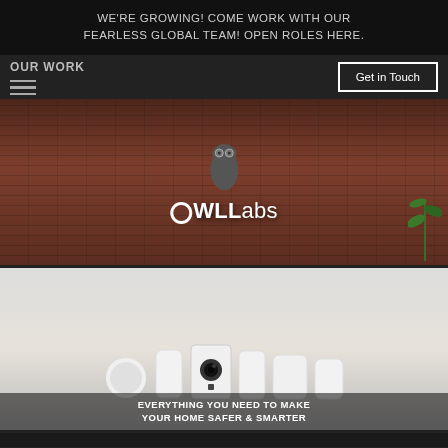WE'RE GROWING! COME WORK WITH OUR FEARLESS GLOBAL TEAM! OPEN ROLES HERE.
OUR WORK
Get in Touch
[Figure (photo): OWL Labs conference camera device in front of a brick wall background with a plant, with the OWL Labs logo overlaid in white text]
[Figure (photo): Wyze smart home security devices on a white surface with caption: EVERYTHING YOU NEED TO MAKE YOUR HOME SAFER & SMARTER]